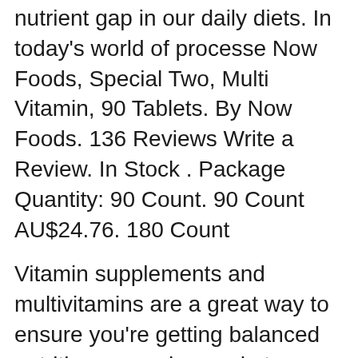nutrient gap in our daily diets. In today's world of processe Now Foods, Special Two, Multi Vitamin, 90 Tablets. By Now Foods. 136 Reviews Write a Review. In Stock . Package Quantity: 90 Count. 90 Count AU$24.76. 180 Count
Vitamin supplements and multivitamins are a great way to ensure you're getting balanced nutrition every day, and at NOW® we produce all of our vitamins with this goal in mind. View by category: Multi-Vitamin, Vitamin A, Vitamin B, Vitamin C, Vitamin D, Vitamin E and Vitamin K. Accidental overdose of iron-containing products is a leading cause of fatal poisoning in children under 6. Keep this product out of reach of